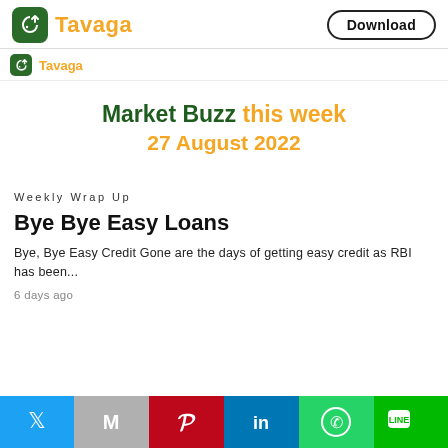Tavaga | Download
Tavaga
Market Buzz this week 27 August 2022
Weekly Wrap Up
Bye Bye Easy Loans
Bye, Bye Easy Credit Gone are the days of getting easy credit as RBI has been...
6 days ago